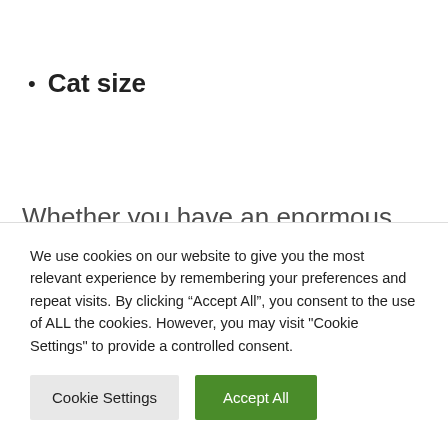Cat size
Whether you have an enormous breed cat or just a big cat that loves its treats, you need to consider total weight when choosing a cat tree. The base must be strong and reinforced, and you can mother of the presence of wall belts or additional safety devices to prevent the tree from swaying or
We use cookies on our website to give you the most relevant experience by remembering your preferences and repeat visits. By clicking “Accept All”, you consent to the use of ALL the cookies. However, you may visit "Cookie Settings" to provide a controlled consent.